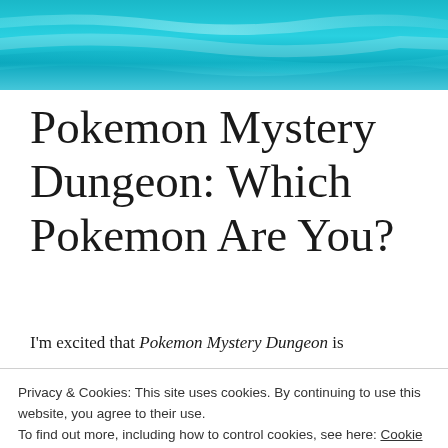[Figure (photo): Blue teal watercolor painted banner image at the top of the page]
Pokemon Mystery Dungeon: Which Pokemon Are You?
I'm excited that Pokemon Mystery Dungeon is
Privacy & Cookies: This site uses cookies. By continuing to use this website, you agree to their use.
To find out more, including how to control cookies, see here: Cookie Policy
Close and accept
dungeons. The new demo for Pokemon Mystery